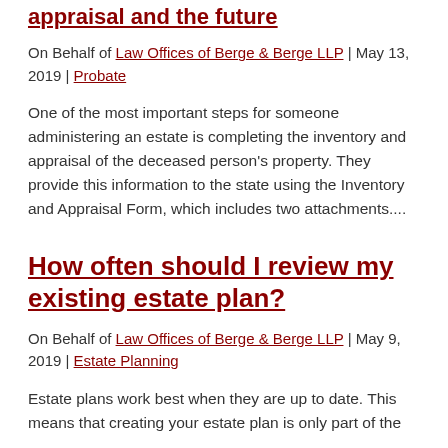appraisal and the future
On Behalf of Law Offices of Berge & Berge LLP | May 13, 2019 | Probate
One of the most important steps for someone administering an estate is completing the inventory and appraisal of the deceased person's property. They provide this information to the state using the Inventory and Appraisal Form, which includes two attachments....
How often should I review my existing estate plan?
On Behalf of Law Offices of Berge & Berge LLP | May 9, 2019 | Estate Planning
Estate plans work best when they are up to date. This means that creating your estate plan is only part of the